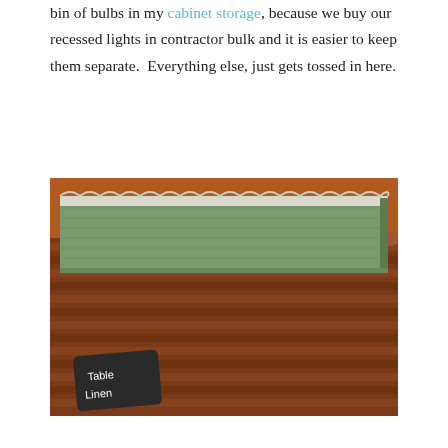bin of bulbs in my cabinet storage, because we buy our recessed lights in contractor bulk and it is easier to keep them separate.  Everything else, just gets tossed in here.
[Figure (photo): A wicker/rattan basket containing folded green table linens, with a small chalkboard label at the front reading 'Table Linen'. The basket is dark reddish-brown with a beaded rim.]